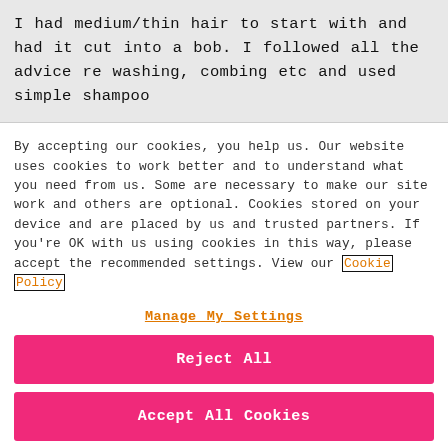I had medium/thin hair to start with and had it cut into a bob. I followed all the advice re washing, combing etc and used simple shampoo
By accepting our cookies, you help us. Our website uses cookies to work better and to understand what you need from us. Some are necessary to make our site work and others are optional. Cookies stored on your device and are placed by us and trusted partners. If you’re OK with us using cookies in this way, please accept the recommended settings. View our Cookie Policy
Manage My Settings
Reject All
Accept All Cookies